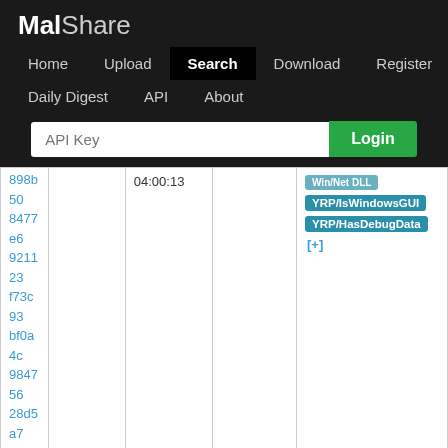MalShare
Home | Upload | Search | Download | Register | Daily Digest | API | About
| Hash | Type | Date | Source | Tags |
| --- | --- | --- | --- | --- |
| 898b508477e6921123f73c93bf0a4c984756 28d5a7c2869e2878 |  | 04:00:13 |  | YRP/IsWindowsGUI YRP/HasDebugData [+] |
| 8ed6acf3292b719331dee121 46f41c | PE32 | 2022-03-07 03:21:44 | User Submission | YRP/Visual_Cpp_2003_DLL YRP/IsPE32 YRP/IsWindowsGUI YRP/IsPacked [+] |